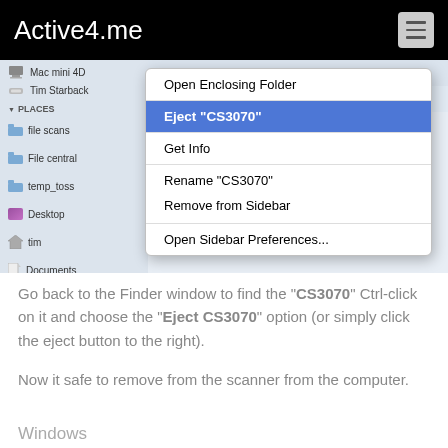Active4.me
[Figure (screenshot): macOS Finder context menu showing options: Open Enclosing Folder, Eject CS3070 (highlighted in blue), Get Info, Rename CS3070, Remove from Sidebar, Open Sidebar Preferences...]
Go back to the Finder window to find the "CS3070" Ctrl-click on it and choose the "Eject CS3070" option (or simply click the eject button to the right).
Now it safe to remove from the scanner from the computer.
Windows